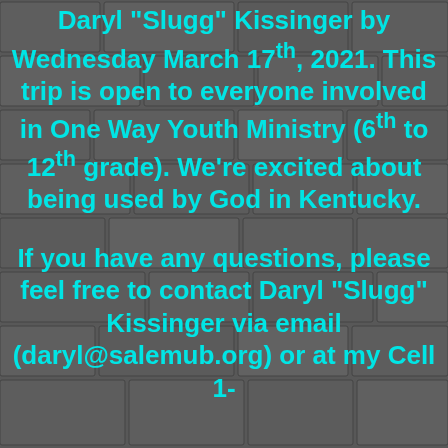Daryl "Slugg" Kissinger by Wednesday March 17th, 2021. This trip is open to everyone involved in One Way Youth Ministry (6th to 12th grade). We're excited about being used by God in Kentucky.
If you have any questions, please feel free to contact Daryl "Slugg" Kissinger via email (daryl@salemub.org) or at my Cell 1-